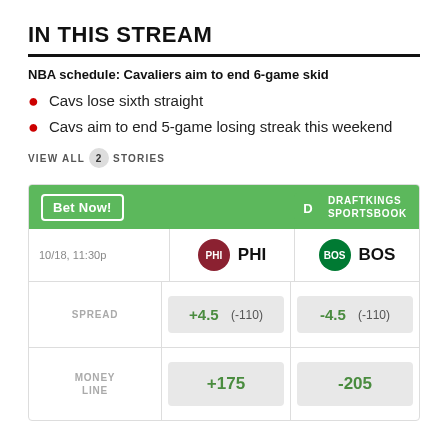IN THIS STREAM
NBA schedule: Cavaliers aim to end 6-game skid
Cavs lose sixth straight
Cavs aim to end 5-game losing streak this weekend
VIEW ALL 2 STORIES
| Bet Now! |  | 10/18, 11:30p | PHI | BOS |
| --- | --- | --- | --- | --- |
| SPREAD | +4.5 (-110) | -4.5 (-110) |
| MONEY LINE | +175 | -205 |